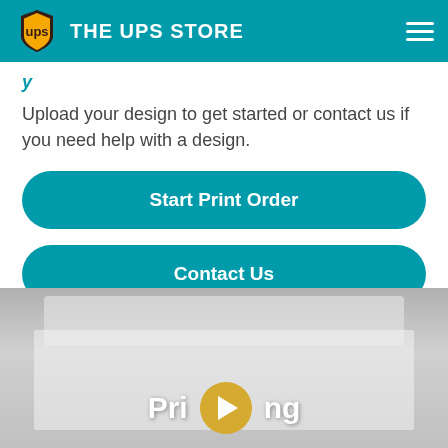THE UPS STORE
Upload your design to get started or contact us if you need help with a design.
Start Print Order
Contact Us
[Figure (screenshot): Video thumbnail showing a printer/scanner with the text 'Printing' and a play button overlay]